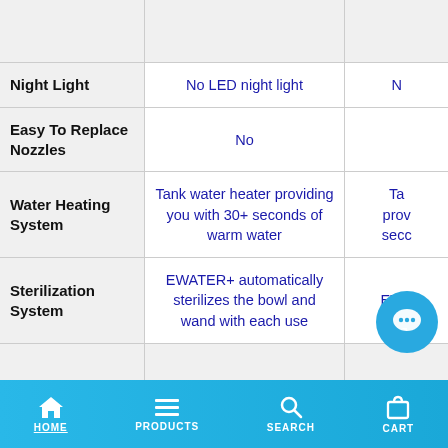| Feature | Product Col 1 | Product Col 2 (partial) |
| --- | --- | --- |
|  |  |  |
| Night Light | No LED night light | N… |
| Easy To Replace Nozzles | No |  |
| Water Heating System | Tank water heater providing you with 30+ seconds of warm water | Ta… prov… secc… |
| Sterilization System | EWATER+ automatically sterilizes the bowl and wand with each use | EWA… |
|  |  |  |
HOME   PRODUCTS   SEARCH   CART